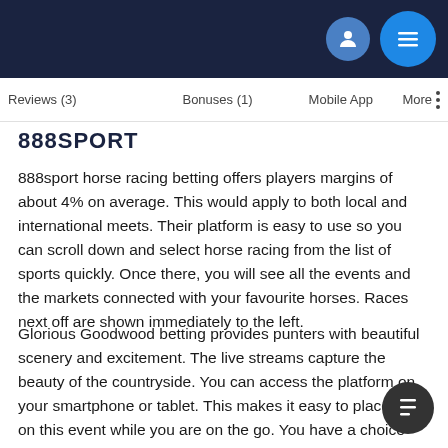Reviews (3)   Bonuses (1)   Mobile App   More
888SPORT
888sport horse racing betting offers players margins of about 4% on average. This would apply to both local and international meets. Their platform is easy to use so you can scroll down and select horse racing from the list of sports quickly. Once there, you will see all the events and the markets connected with your favourite horses. Races next off are shown immediately to the left.
Glorious Goodwood betting provides punters with beautiful scenery and excitement. The live streams capture the beauty of the countryside. You can access the platform on your smartphone or tablet. This makes it easy to place bets on this event while you are on the go. You have a choice when it comes to his odds are displayed and can